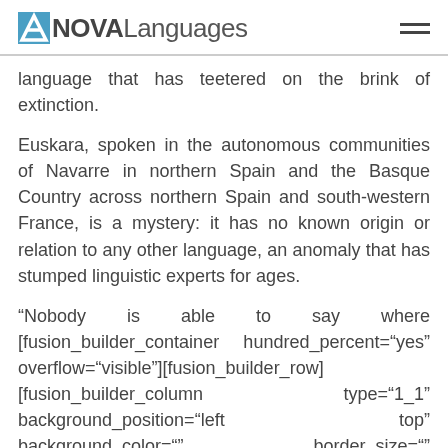NOVA Languages
language that has teetered on the brink of extinction.
Euskara, spoken in the autonomous communities of Navarre in northern Spain and the Basque Country across northern Spain and south-western France, is a mystery: it has no known origin or relation to any other language, an anomaly that has stumped linguistic experts for ages.
“Nobody is able to say where [fusion_builder_container hundred_percent=“yes” overflow=“visible”][fusion_builder_row] [fusion_builder_column type=“1_1” background_position=“left top” background_color=“” border_size=“” border_color=“” border_style=“solid” spacing=“yes” background_image=“”